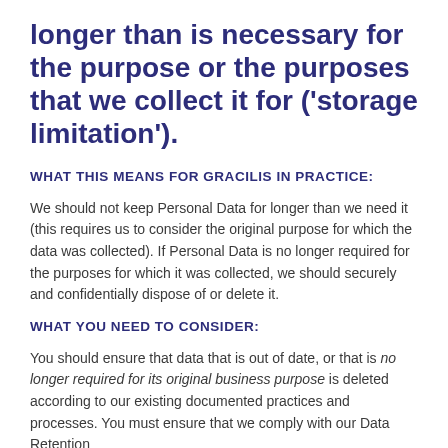longer than is necessary for the purpose or the purposes that we collect it for ('storage limitation').
WHAT THIS MEANS FOR GRACILIS IN PRACTICE:
We should not keep Personal Data for longer than we need it (this requires us to consider the original purpose for which the data was collected). If Personal Data is no longer required for the purposes for which it was collected, we should securely and confidentially dispose of or delete it.
WHAT YOU NEED TO CONSIDER:
You should ensure that data that is out of date, or that is no longer required for its original business purpose is deleted according to our existing documented practices and processes. You must ensure that we comply with our Data Retention